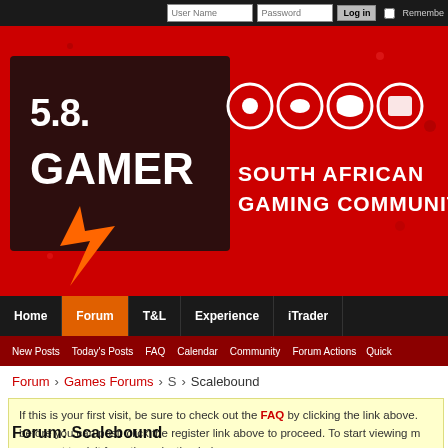[Figure (screenshot): South African Gamer forum website header with logo, navigation bar, breadcrumb, info box, and forum title]
User Name | Password | Log in | Remember
[Figure (logo): S.A. Gamer - South African Gaming Community logo on red background]
Home | Forum | T&L | Experience | iTrader
New Posts  Today's Posts  FAQ  Calendar  Community  Forum Actions  Quick
Forum  Games Forums  S  Scalebound
If this is your first visit, be sure to check out the FAQ by clicking the link above. before you can post: click the register link above to proceed. To start viewing m you want to visit from the selection below.
Forum: Scalebound